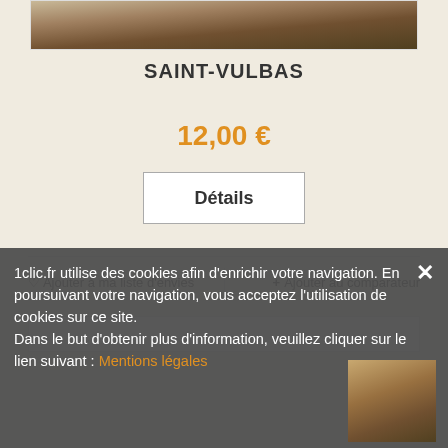[Figure (photo): Top portion of a product image showing a brown/sepia landscape or terrain texture]
SAINT-VULBAS
12,00 €
Détails
♡ Ajouter à ma liste d'envies
+ Ajouter au comparateur
[Figure (photo): Partial view of a building thumbnail in the lower right of the cookie overlay]
1clic.fr utilise des cookies afin d'enrichir votre navigation. En poursuivant votre navigation, vous acceptez l'utilisation de cookies sur ce site. Dans le but d'obtenir plus d'information, veuillez cliquer sur le lien suivant : Mentions légales